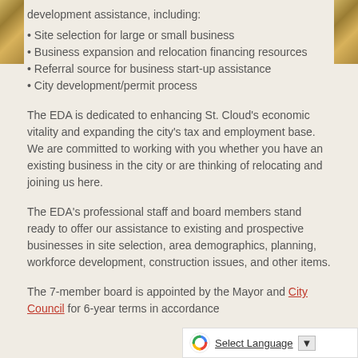development assistance, including:
Site selection for large or small business
Business expansion and relocation financing resources
Referral source for business start-up assistance
City development/permit process
The EDA is dedicated to enhancing St. Cloud's economic vitality and expanding the city's tax and employment base. We are committed to working with you whether you have an existing business in the city or are thinking of relocating and joining us here.
The EDA's professional staff and board members stand ready to offer our assistance to existing and prospective businesses in site selection, area demographics, planning, workforce development, construction issues, and other items.
The 7-member board is appointed by the Mayor and City Council for 6-year terms in accordance